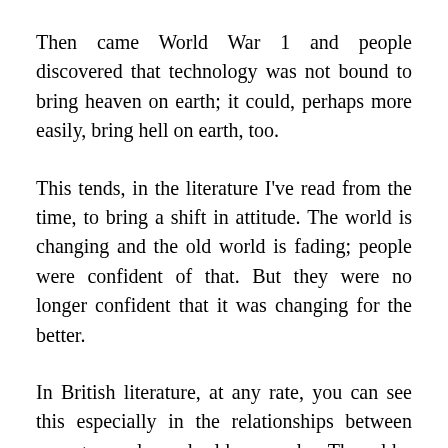Then came World War 1 and people discovered that technology was not bound to bring heaven on earth; it could, perhaps more easily, bring hell on earth, too.
This tends, in the literature I've read from the time, to bring a shift in attitude. The world is changing and the old world is fading; people were confident of that. But they were no longer confident that it was changing for the better.
In British literature, at any rate, you can see this especially in the relationships between young people and older people. The older generations had their ideas of how the world should work, and